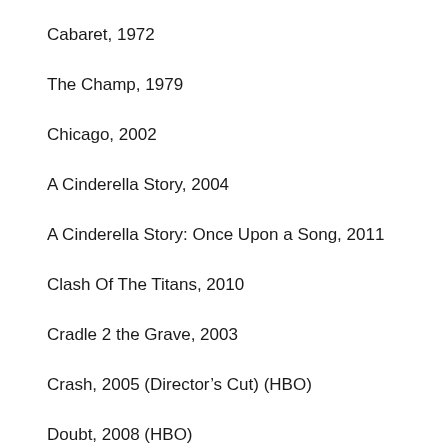Cabaret, 1972
The Champ, 1979
Chicago, 2002
A Cinderella Story, 2004
A Cinderella Story: Once Upon a Song, 2011
Clash Of The Titans, 2010
Cradle 2 the Grave, 2003
Crash, 2005 (Director's Cut) (HBO)
Doubt, 2008 (HBO)